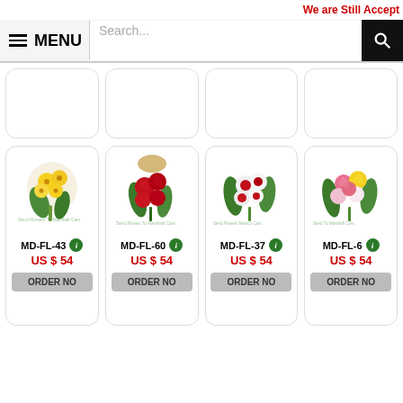We are Still Accept
[Figure (screenshot): Website header with hamburger menu icon, MENU label, search bar, and search button]
[Figure (photo): Empty product card row (4 cards, no images visible)]
[Figure (photo): Yellow flower bouquet - MD-FL-43]
MD-FL-43
US $ 54
ORDER NO
[Figure (photo): Red roses bouquet - MD-FL-60]
MD-FL-60
US $ 54
ORDER NO
[Figure (photo): Mixed red and white flower bouquet - MD-FL-37]
MD-FL-37
US $ 54
ORDER NO
[Figure (photo): Colorful mixed roses bouquet - MD-FL-6]
MD-FL-6
US $ 54
ORDER NO